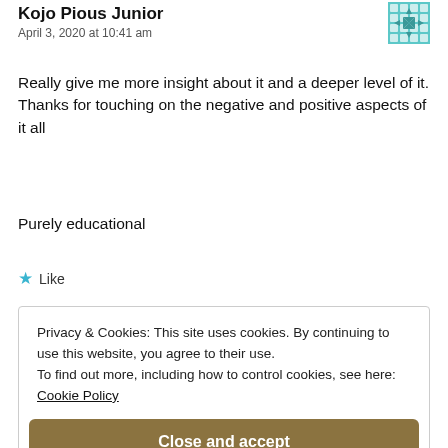Kojo Pious Junior
April 3, 2020 at 10:41 am
Really give me more insight about it and a deeper level of it. Thanks for touching on the negative and positive aspects of it all
Purely educational
Like
Privacy & Cookies: This site uses cookies. By continuing to use this website, you agree to their use.
To find out more, including how to control cookies, see here:
Cookie Policy
Close and accept